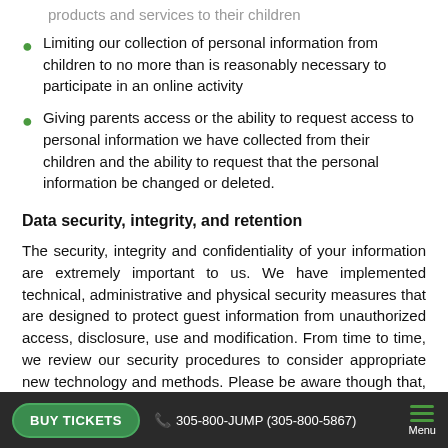products and services to their children
Limiting our collection of personal information from children to no more than is reasonably necessary to participate in an online activity
Giving parents access or the ability to request access to personal information we have collected from their children and the ability to request that the personal information be changed or deleted.
Data security, integrity, and retention
The security, integrity and confidentiality of your information are extremely important to us. We have implemented technical, administrative and physical security measures that are designed to protect guest information from unauthorized access, disclosure, use and modification. From time to time, we review our security procedures to consider appropriate new technology and methods. Please be aware though that, despite our best efforts, no security measures are perfect or impenetrable. We will retain your personal information for the
BUY TICKETS   305-800-JUMP (305-800-5867)   Menu